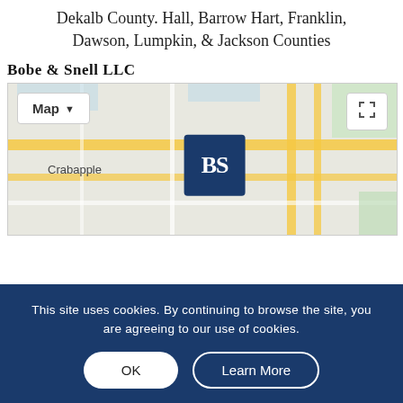Dekalb County. Hall, Barrow Hart, Franklin, Dawson, Lumpkin, & Jackson Counties
Bobe & Snell LLC
[Figure (map): Google Maps view showing Crabapple area with Bobe & Snell LLC logo pin, Map/Satellite toggle button on top left, and fullscreen button on top right]
This site uses cookies. By continuing to browse the site, you are agreeing to our use of cookies.
OK
Learn More